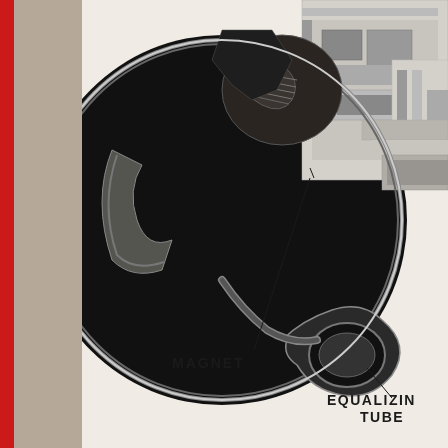[Figure (engineering-diagram): Cross-sectional view of a mechanical/electrical device (likely a loudspeaker or motor) showing internal components including a circular magnet assembly and equalizing tube. Black and white photograph-style technical illustration with two labeled components: MAGNET and EQUALIZING TUBE, indicated by lines pointing to the respective parts.]